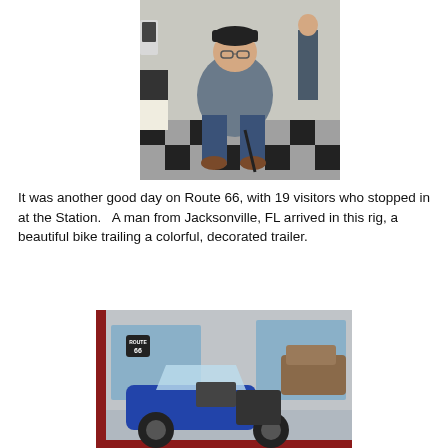[Figure (photo): A heavyset man in a gray t-shirt, jeans, and brown shoes, wearing a dark baseball cap and glasses, sitting in a folding chair inside a diner or shop with a black and white checkered floor. Another person stands in the background. Coffee maker and other items visible on the left.]
It was another good day on Route 66, with 19 visitors who stopped in at the Station.   A man from Jacksonville, FL arrived in this rig, a beautiful bike trailing a colorful, decorated trailer.
[Figure (photo): A blue motorcycle with a large windshield and luggage bags parked in front of a building with red trim and a Route 66 sign visible. A car and storefront are visible in the background.]